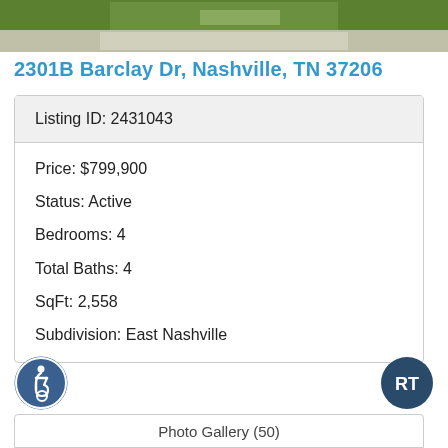[Figure (photo): Exterior photo of house showing driveway and grass, cropped at top of page]
2301B Barclay Dr, Nashville, TN 37206
| Listing ID: 2431043 |
| Price: $799,900 |
| Status: Active |
| Bedrooms: 4 |
| Total Baths: 4 |
| SqFt: 2,558 |
| Subdivision: East Nashville |
[Figure (logo): Accessibility icon (wheelchair symbol in circle)]
[Figure (logo): RT realty logo in dark blue circle]
Photo Gallery (50)